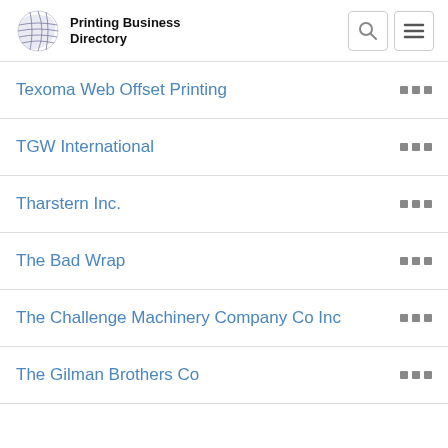Printing Business Directory
Texoma Web Offset Printing
TGW International
Tharstern Inc.
The Bad Wrap
The Challenge Machinery Company Co Inc
The Gilman Brothers Co